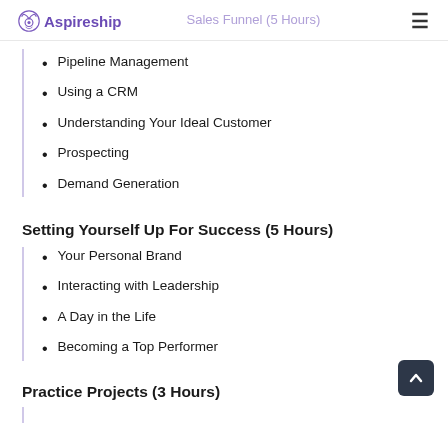Aspireship | Sales Funnel (5 Hours)
Pipeline Management
Using a CRM
Understanding Your Ideal Customer
Prospecting
Demand Generation
Setting Yourself Up For Success (5 Hours)
Your Personal Brand
Interacting with Leadership
A Day in the Life
Becoming a Top Performer
Practice Projects (3 Hours)